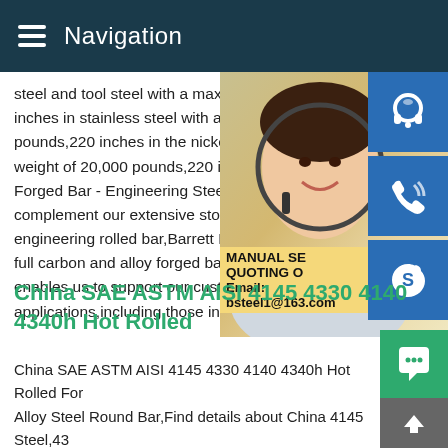Navigation
steel and tool steel with a maximum weigh inches in stainless steel with a maximum w pounds,220 inches in the nickel and super weight of 20,000 pounds,220 inches in alu Forged Bar - Engineering Steel - Barrett S complement our extensive stock range of engineering rolled bar,Barrett Engineering full carbon and alloy forged bar product ra enables us to support our customers in su applications,including those in the followin
[Figure (photo): Contact center agent woman smiling with headset, with overlay contact icons (headset, phone, Skype) and banner showing MANUAL SE... QUOTING O... Email: bsteel1@163.com]
China SAE ASTM AISI 4145 4330 4140 4340h Hot Rolled
China SAE ASTM AISI 4145 4330 4140 4340h Hot Rolled For Alloy Steel Round Bar,Find details about China 4145 Steel,43 Steel from SAE ASTM AISI 4145 4330 4140 4340h Hot Rolled